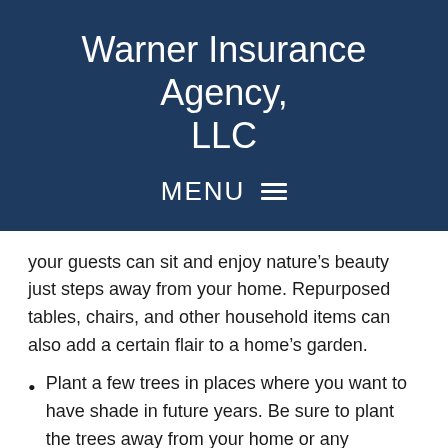Warner Insurance Agency, LLC
MENU ≡
your guests can sit and enjoy nature's beauty just steps away from your home. Repurposed tables, chairs, and other household items can also add a certain flair to a home's garden.
Plant a few trees in places where you want to have shade in future years. Be sure to plant the trees away from your home or any concrete paths as a tree's roots can often grow far and wide. Having carefully placed trees will also help